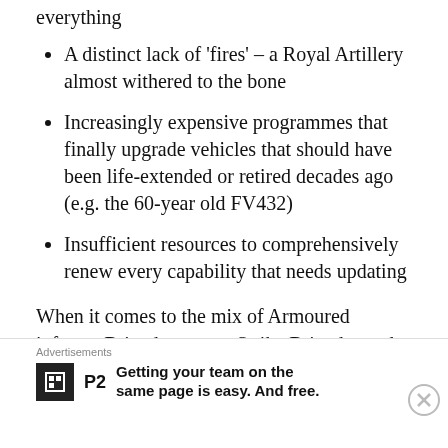A distinct lack of 'fires' – a Royal Artillery almost withered to the bone
Increasingly expensive programmes that finally upgrade vehicles that should have been life-extended or retired decades ago (e.g. the 60-year old FV432)
Insufficient resources to comprehensively renew every capability that needs updating
When it comes to the mix of Armoured infantry Brigades versus Strike Brigades and taking a holistic view of Army modernisation, an important question is – what do we prioritise if we cannot
Advertisements
Getting your team on the same page is easy. And free.